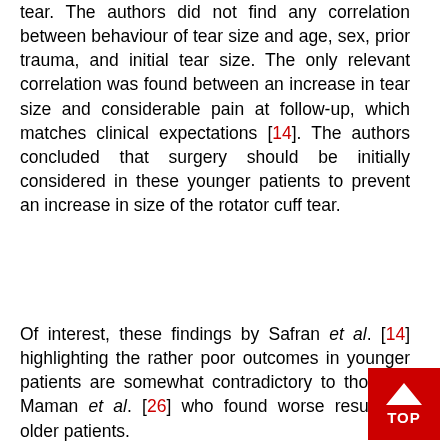tear. The authors did not find any correlation between behaviour of tear size and age, sex, prior trauma, and initial tear size. The only relevant correlation was found between an increase in tear size and considerable pain at follow-up, which matches clinical expectations [14]. The authors concluded that surgery should be initially considered in these younger patients to prevent an increase in size of the rotator cuff tear.
Of interest, these findings by Safran et al. [14] highlighting the rather poor outcomes in younger patients are somewhat contradictory to those of Maman et al. [26] who found worse results in older patients.
On the other hand, Fucentese and coworkers reported surprisingly good clinical and magnetic resonance imaging (MRI) results on 24 consecutive patients with a mean age of 52 years and isolated full-thickness supraspinatus tears who were
[Figure (other): Red TOP button with upward arrow in bottom-right corner]